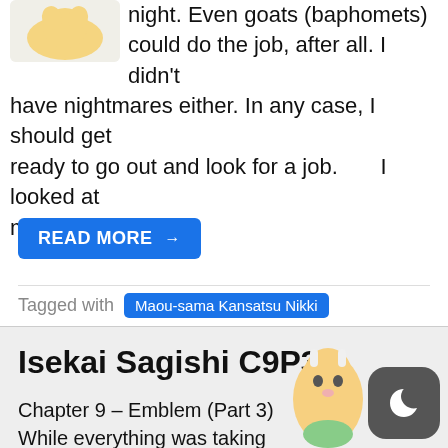night. Even goats (baphomets) could do the job, after all. I didn't have nightmares either. In any case, I should get ready to go out and look for a job.       I looked at my
READ MORE →
Tagged with Maou-sama Kansatsu Nikki
Isekai Sagishi C9P3
Chapter 9 – Emblem (Part 3)
While everything was taking